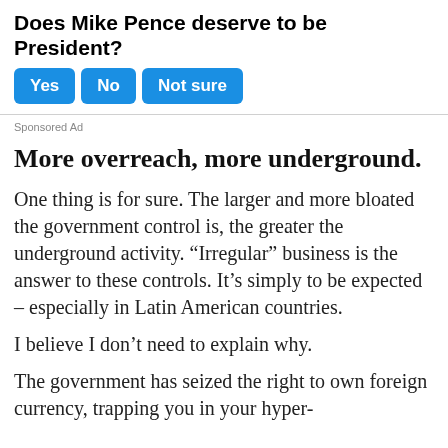Does Mike Pence deserve to be President?
[Figure (other): Poll buttons: Yes, No, Not sure (blue rounded buttons)]
Sponsored Ad
More overreach, more underground.
One thing is for sure. The larger and more bloated the government control is, the greater the underground activity. “Irregular” business is the answer to these controls. It’s simply to be expected – especially in Latin American countries.
I believe I don’t need to explain why.
The government has seized the right to own foreign currency, trapping you in your hyper-